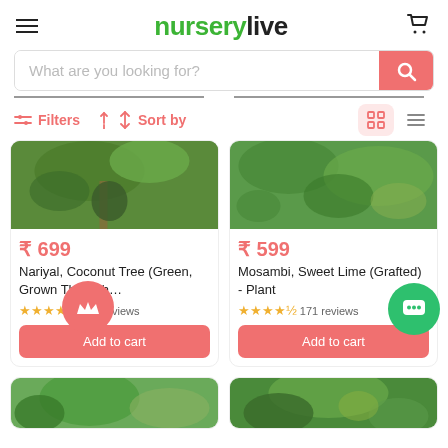nurserylive
[Figure (screenshot): Search bar with placeholder text 'What are you looking for?' and coral/red search button with magnifying glass icon]
Filters
Sort by
[Figure (photo): Top portion of coconut tree plant product image]
₹ 699
Nariyal, Coconut Tree (Green, Grown Through…
159 reviews
Add to cart
[Figure (photo): Top portion of Mosambi sweet lime plant product image]
₹ 599
Mosambi, Sweet Lime (Grafted) - Plant
171 reviews
Add to cart
[Figure (photo): Bottom row first product plant image (partially visible)]
[Figure (photo): Bottom row second product plant image (partially visible)]